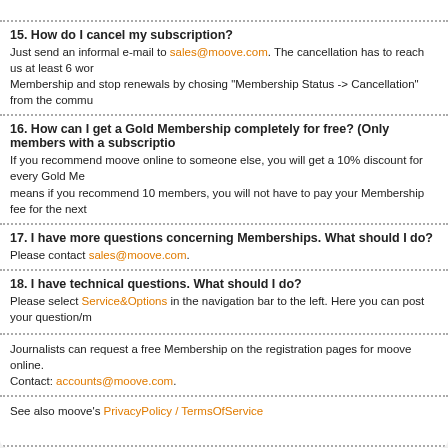15. How do I cancel my subscription?
Just send an informal e-mail to sales@moove.com. The cancellation has to reach us at least 6 wor... Membership and stop renewals by chosing "Membership Status -> Cancellation" from the commu...
16. How can I get a Gold Membership completely for free? (Only members with a subscriptio...
If you recommend moove online to someone else, you will get a 10% discount for every Gold Me... means if you recommend 10 members, you will not have to pay your Membership fee for the next...
17. I have more questions concerning Memberships. What should I do?
Please contact sales@moove.com.
18. I have technical questions. What should I do?
Please select Service&Options in the navigation bar to the left. Here you can post your question/m...
Journalists can request a free Membership on the registration pages for moove online. Contact: accounts@moove.com.
See also moove's PrivacyPolicy / TermsOfService